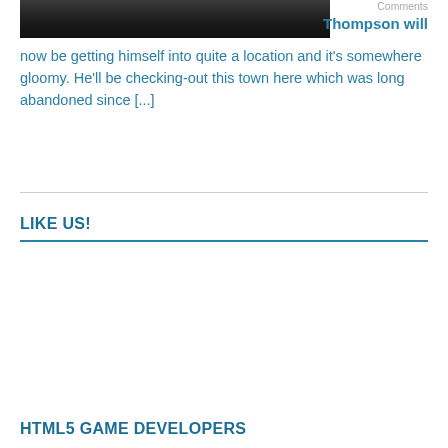[Figure (photo): Dark/gloomy photo, appears to be a dark scene, partially visible at top of page]
Comments
Thompson will now be getting himself into quite a location and it's somewhere gloomy. He'll be checking-out this town here which was long abandoned since [...]
LIKE US!
HTML5 GAME DEVELOPERS